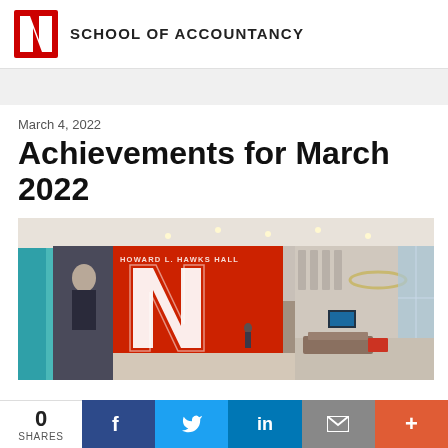SCHOOL OF ACCOUNTANCY
March 4, 2022
Achievements for March 2022
[Figure (photo): Interior lobby of Howard L. Hawks Hall, University of Nebraska, showing a large red panel with the Nebraska N logo and text 'HOWARD L. HAWKS HALL', with a portrait, open atrium, modern furniture, and large windows.]
0 SHARES